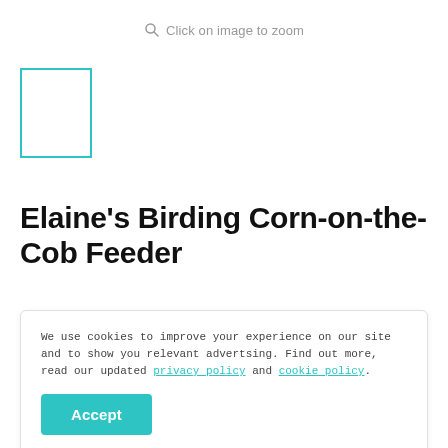Click on image to zoom
[Figure (other): Thumbnail placeholder box with teal border for product image]
Elaine's Birding Corn-on-the-Cob Feeder
We use cookies to improve your experience on our site and to show you relevant advertsing. Find out more, read our updated privacy policy and cookie policy.
Accept